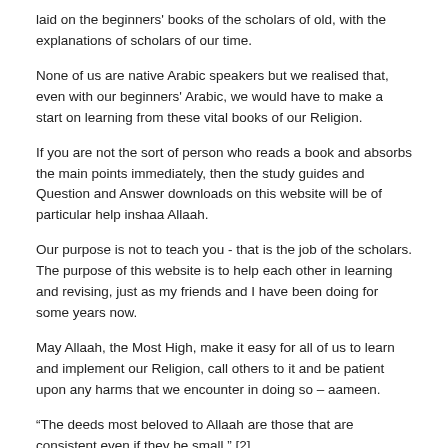laid on the beginners' books of the scholars of old, with the explanations of scholars of our time.
None of us are native Arabic speakers but we realised that, even with our beginners' Arabic, we would have to make a start on learning from these vital books of our Religion.
If you are not the sort of person who reads a book and absorbs the main points immediately, then the study guides and Question and Answer downloads on this website will be of particular help inshaa Allaah.
Our purpose is not to teach you - that is the job of the scholars. The purpose of this website is to help each other in learning and revising, just as my friends and I have been doing for some years now.
May Allaah, the Most High, make it easy for all of us to learn and implement our Religion, call others to it and be patient upon any harms that we encounter in doing so – aameen.
“The deeds most beloved to Allaah are those that are consistent even if they be small.” [2]